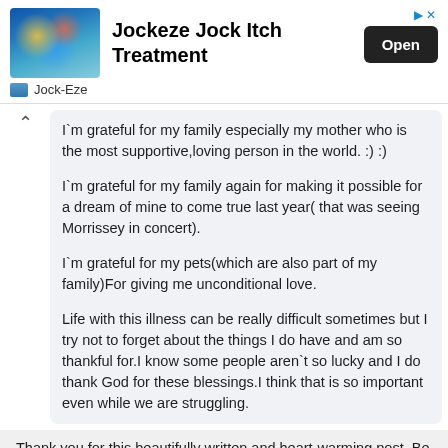[Figure (screenshot): Advertisement banner for Jockeze Jock Itch Treatment with sports crowd image, brand name Jock-Eze, and Open button]
I`m grateful for my family especially my mother who is the most supportive,loving person in the world. :) :)
I`m grateful for my family again for making it possible for a dream of mine to come true last year( that was seeing Morrissey in concert).
I`m grateful for my pets(which are also part of my family)For giving me unconditional love.
Life with this illness can be really difficult sometimes but I try not to forget about the things I do have and am so thankful for.I know some people aren`t so lucky and I do thank God for these blessings.I think that is so important even while we are struggling.
Thank you for this beautifully written and heart-warming post. Be